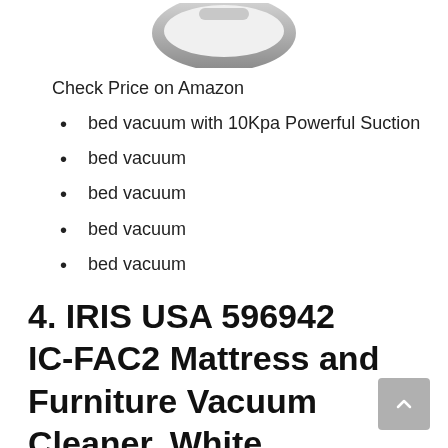[Figure (photo): Partial view of a vacuum cleaner product, showing the bottom/underside portion cropped at the top of the page]
Check Price on Amazon
bed vacuum with 10Kpa Powerful Suction
bed vacuum
bed vacuum
bed vacuum
bed vacuum
4. IRIS USA 596942 IC-FAC2 Mattress and Furniture Vacuum Cleaner, White